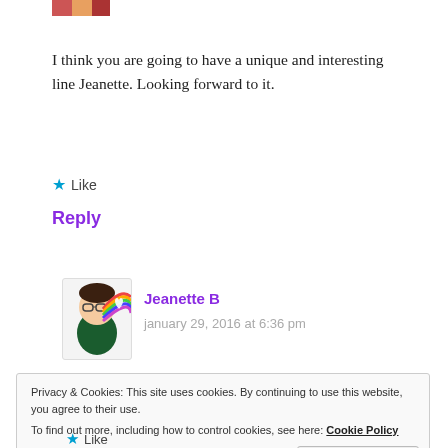[Figure (photo): Partial avatar/profile photo at top left, cropped]
I think you are going to have a unique and interesting line Jeanette. Looking forward to it.
★ Like
Reply
[Figure (illustration): Cartoon bitmoji avatar of Jeanette B with rainbow and heart]
Jeanette B
january 29, 2016 at 6:36 pm
Privacy & Cookies: This site uses cookies. By continuing to use this website, you agree to their use.
To find out more, including how to control cookies, see here: Cookie Policy
Close and accept
★ Like